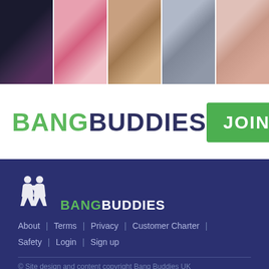[Figure (photo): Strip of 5 thumbnail photos of women]
BANGBUDDIES
[Figure (other): JOIN FREE green button]
[Figure (logo): BangBuddies footer logo with silhouette icons]
About | Terms | Privacy | Customer Charter | Safety | Login | Sign up
© Site design and content copyright Bang Buddies UK